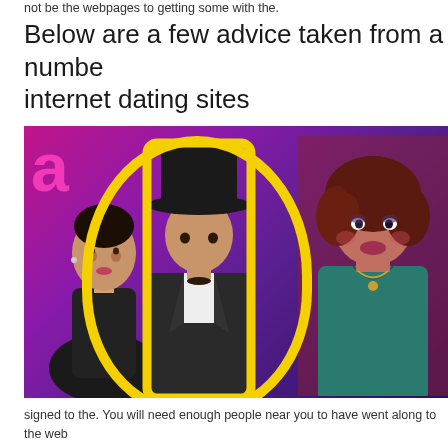not be the webpages to getting some with the.
Below are a few advice taken from a number of internet dating sites
[Figure (photo): Photo illustration showing three people: a woman on the left looking up at a man in the center wearing a black fedora hat and suit, and a woman on the right with curly hair wearing a teal top. The background features bright magenta and purple colors with yellow outlines accenting the central male figure.]
signed to the. You will need enough people near you to have went along to the web hours. I live in a major urban center therefore i be aware that there should be at lea signing towards one site I'm a member of during the last big date for this in order to on the continuing and a amount of contact account the control of the Co-act I let to